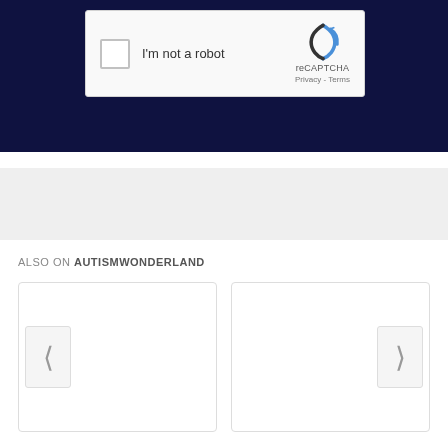[Figure (screenshot): reCAPTCHA widget showing checkbox 'I'm not a robot' with Google reCAPTCHA logo, Privacy and Terms links, on a dark navy blue background]
[Figure (screenshot): Light gray advertisement/banner placeholder section]
ALSO ON AUTISMWONDERLAND
[Figure (screenshot): Two article card placeholders side by side with left and right navigation arrows, part of a 'Also on Autismwonderland' Disqus widget]